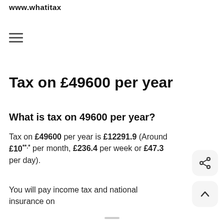www.whatitax
Tax on £49600 per year
What is tax on 49600 per year?
Tax on £49600 per year is £12291.9 (Around £10**.*  per month, £236.4 per week or £47.3 per day).
You will pay income tax and national insurance on